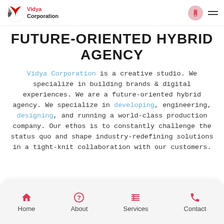Vidya Corporation
FUTURE-ORIENTED HYBRID AGENCY
Vidya Corporation is a creative studio. We specialize in building brands & digital experiences. We are a future-oriented hybrid agency. We specialize in developing, engineering, designing, and running a world-class production company. Our ethos is to constantly challenge the status quo and shape industry-redefining solutions in a tight-knit collaboration with our customers.
Home | About | Services | Contact